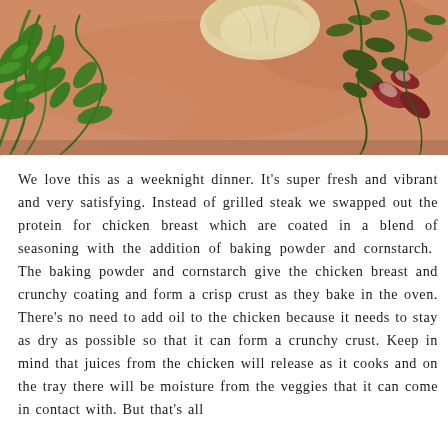[Figure (photo): Overhead flat-lay photo of fresh herbs including parsley and other greens, along with garlic and other ingredients on a warm peach/terracotta cutting board or surface. Top portion of a food preparation scene.]
We love this as a weeknight dinner. It's super fresh and vibrant and very satisfying. Instead of grilled steak we swapped out the protein for chicken breast which are coated in a blend of seasoning with the addition of baking powder and cornstarch.  The baking powder and cornstarch give the chicken breast and crunchy coating and form a crisp crust as they bake in the oven. There's no need to add oil to the chicken because it needs to stay as dry as possible so that it can form a crunchy crust. Keep in mind that juices from the chicken will release as it cooks and on the tray there will be moisture from the veggies that it can come in contact with. But that's all